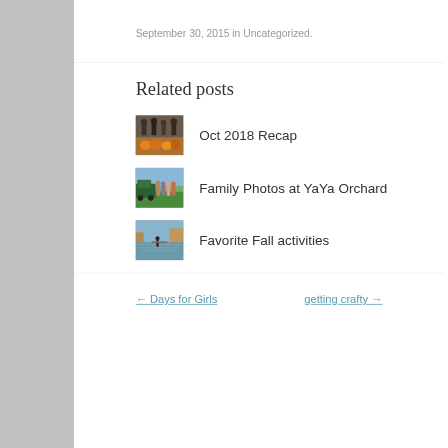September 30, 2015 in Uncategorized.
Related posts
[Figure (photo): Thumbnail photo of group with pumpkins – Oct 2018 Recap]
Oct 2018 Recap
[Figure (photo): Thumbnail photo of family at YaYa Orchard]
Family Photos at YaYa Orchard
[Figure (photo): Thumbnail photo of fall lake scene with person]
Favorite Fall activities
← Days for Girls
getting crafty →